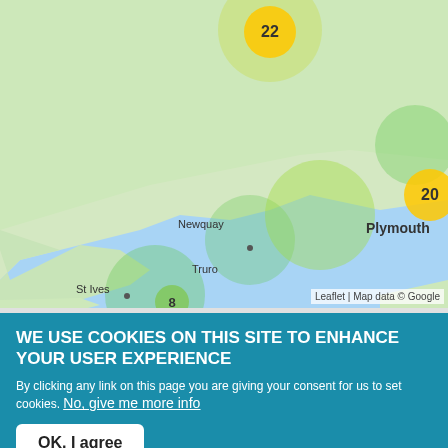[Figure (map): Google/Leaflet map of South West England and English Channel showing cluster markers: 22 (near Redruth/Camborne area), 20 (near Torquay), 8 (near Truro/Falmouth), 7 (near Bournemouth), 13 (partially visible top right). Place labels: Newquay, St Ives, Truro, Penzance, Falmouth, Plymouth, Exeter, Torquay (partially), Bournemouth, Southampton (partially), Cherbourg-en-C (partially), English Channel. Attribution: Leaflet | Map data © Google]
WE USE COOKIES ON THIS SITE TO ENHANCE YOUR USER EXPERIENCE
By clicking any link on this page you are giving your consent for us to set cookies. No, give me more info
OK, I agree